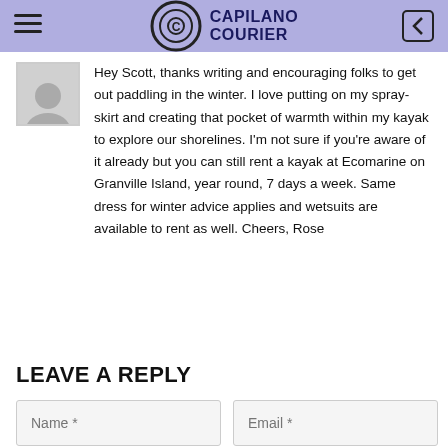[Figure (logo): Capilano Courier logo with circular C icon and bold text 'CAPILANO COURIER']
Hey Scott, thanks writing and encouraging folks to get out paddling in the winter. I love putting on my spray-skirt and creating that pocket of warmth within my kayak to explore our shorelines. I'm not sure if you're aware of it already but you can still rent a kayak at Ecomarine on Granville Island, year round, 7 days a week. Same dress for winter advice applies and wetsuits are available to rent as well. Cheers, Rose
LEAVE A REPLY